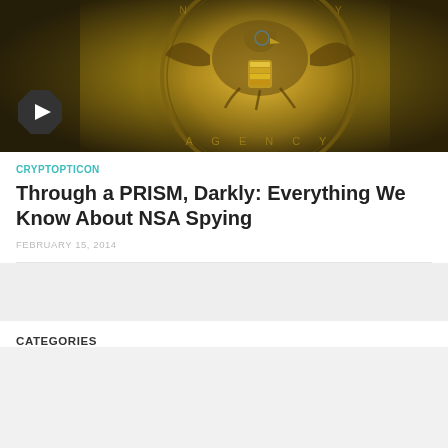[Figure (photo): NSA eagle seal illustration with golden/olive tones and AT&T logo, with a diamond-shaped play button overlay in the lower left corner]
CRYPTOPTICON
Through a PRISM, Darkly: Everything We Know About NSA Spying
FEBRUARY 15, 2014
CATEGORIES